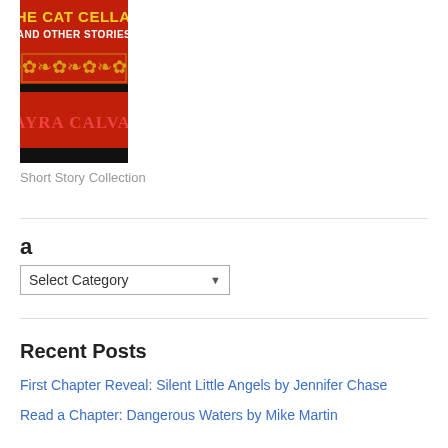[Figure (illustration): Book cover for 'The Cat Cellar and Other Stories' by Mayra Calvani. Black background with red and gold decorative text and ornamental border design.]
Short Story Collection
a
Select Category
Recent Posts
First Chapter Reveal: Silent Little Angels by Jennifer Chase
Read a Chapter: Dangerous Waters by Mike Martin